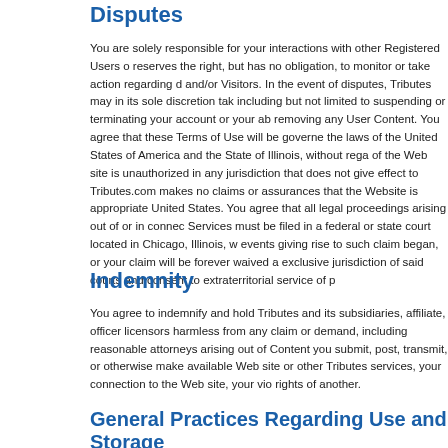Disputes
You are solely responsible for your interactions with other Registered Users o reserves the right, but has no obligation, to monitor or take action regarding d and/or Visitors. In the event of disputes, Tributes may in its sole discretion tak including but not limited to suspending or terminating your account or your ab removing any User Content. You agree that these Terms of Use will be governe the laws of the United States of America and the State of Illinois, without rega of the Web site is unauthorized in any jurisdiction that does not give effect to Tributes.com makes no claims or assurances that the Website is appropriate United States. You agree that all legal proceedings arising out of or in connec Services must be filed in a federal or state court located in Chicago, Illinois, w events giving rise to such claim began, or your claim will be forever waived a exclusive jurisdiction of said courts and consent to extraterritorial service of p
Indemnity
You agree to indemnify and hold Tributes and its subsidiaries, affiliate, officer licensors harmless from any claim or demand, including reasonable attorneys arising out of Content you submit, post, transmit, or otherwise make available Web site or other Tributes services, your connection to the Web site, your vio rights of another.
General Practices Regarding Use and Storage